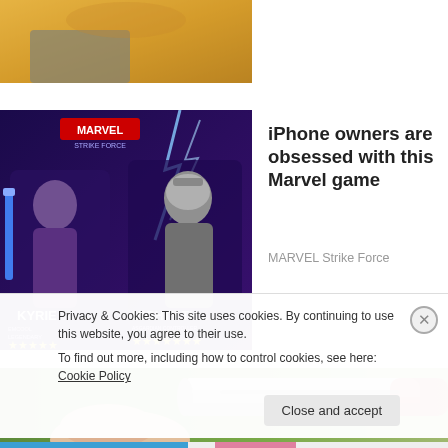[Figure (photo): Cropped top portion of a photo showing a person in yellow/mustard clothing, visible from waist down, seated.]
[Figure (photo): Marvel Strike Force game advertisement image showing superhero characters KYRIE and MIGHTY THI with star ratings.]
iPhone owners are obsessed with this Marvel game
MARVEL Strike Force
[Figure (photo): Close-up photo of a hand holding a silver/metallic pen or stylus device against a green blurred background.]
Privacy & Cookies: This site uses cookies. By continuing to use this website, you agree to their use.
To find out more, including how to control cookies, see here: Cookie Policy
Close and accept